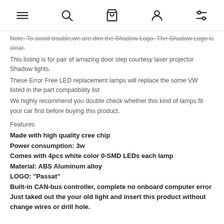[hamburger menu] [search] [bag] [account] [filters]
Note: To avoid trouble,we are dim the Shadow Logo. The Shadow Logo is clear.
This listing is for pair of amazing door step courtesy laser projector Shadow lights.
These Error Free LED replacement lamps will replace the some VW listed in the part compatibility list
We highly recommend you double check whether this kind of lamps fit your car first before buying this product.
Features
Made with high quality cree chip
Power consumption: 3w
Comes with 4pcs white color 0-SMD LEDs each lamp
Material: ABS Aluminum alloy
LOGO: "Passat"
Built-in CAN-bus controller, complete no onboard computer error
Just taked out the your old light and insert this product without change wires or drill hole.